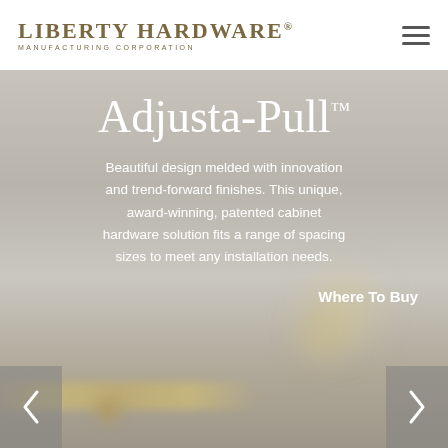Liberty Hardware Manufacturing Corporation
Adjusta-Pull™
Beautiful design melded with innovation and trend-forward finishes. This unique, award-winning, patented cabinet hardware solution fits a range of spacing sizes to meet any installation needs.
Where To Buy
[Figure (photo): Blurred background photo of gold/brass cabinet hardware pulls on a light grey surface, serving as hero image backdrop]